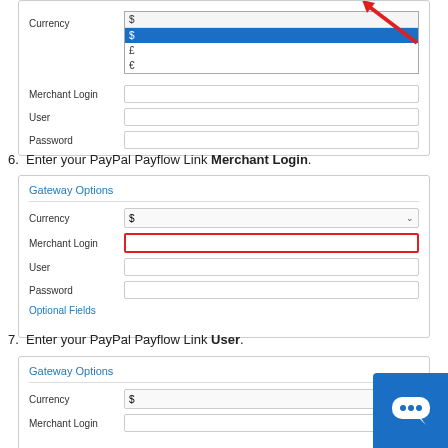[Figure (screenshot): Gateway Options form panel showing Currency dropdown open with options $, £, €, and a red arrow pointing to the dropdown. Fields: Currency, Merchant Login, User, Password, Optional Fields link.]
6. Enter your PayPal Payflow Link Merchant Login.
[Figure (screenshot): Gateway Options form panel with Currency $ selected, Merchant Login field highlighted with red border, User and Password fields, Optional Fields link.]
7. Enter your PayPal Payflow Link User.
[Figure (screenshot): Gateway Options form panel showing Currency $ and beginning of form, partially visible at bottom of page.]